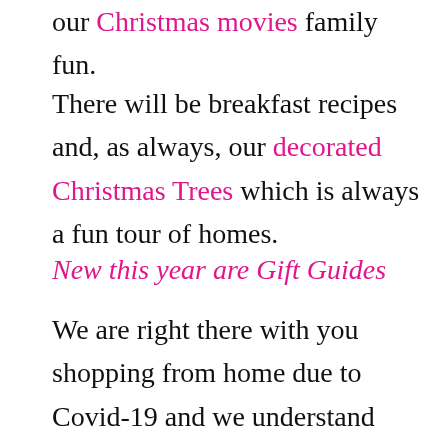our Christmas movies family fun.
There will be breakfast recipes and, as always, our decorated Christmas Trees which is always a fun tour of homes.
New this year are Gift Guides
We are right there with you shopping from home due to Covid-19 and we understand how hard that can be. That is why we have been busy little Elves doing tons of research to create